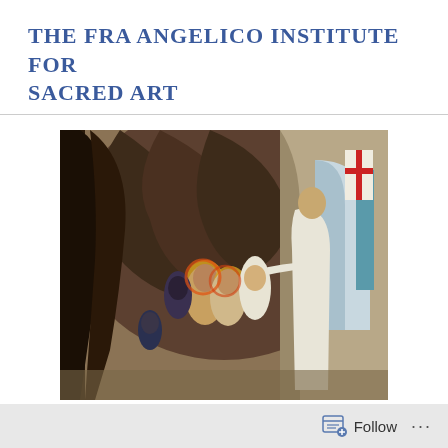THE FRA ANGELICO INSTITUTE FOR SACRED ART
[Figure (illustration): A fresco painting depicting a religious scene — likely the Harrowing of Hell by Fra Angelico. Christ in white robes stands on the right holding a cross staff, reaching out to figures with golden halos emerging from a dark cave or tomb on the left. The background features arched stone structures.]
Follow ...